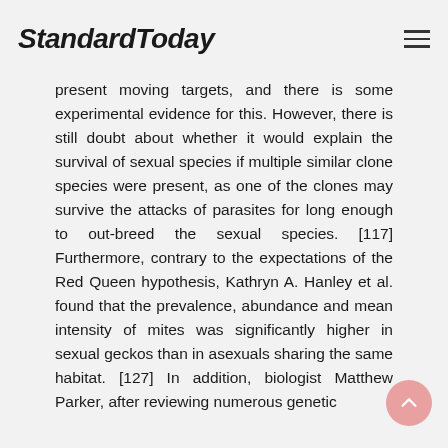StandardToday
present moving targets, and there is some experimental evidence for this. However, there is still doubt about whether it would explain the survival of sexual species if multiple similar clone species were present, as one of the clones may survive the attacks of parasites for long enough to out-breed the sexual species. [117] Furthermore, contrary to the expectations of the Red Queen hypothesis, Kathryn A. Hanley et al. found that the prevalence, abundance and mean intensity of mites was significantly higher in sexual geckos than in asexuals sharing the same habitat. [127] In addition, biologist Matthew Parker, after reviewing numerous genetic